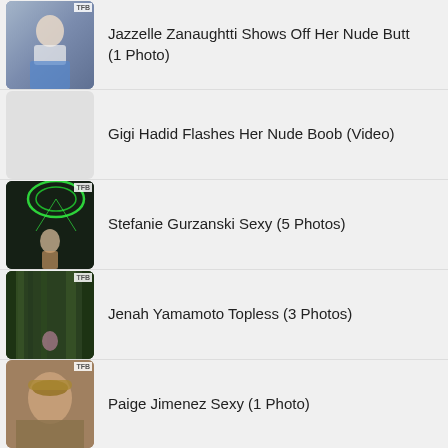Jazzelle Zanaughtti Shows Off Her Nude Butt (1 Photo)
Gigi Hadid Flashes Her Nude Boob (Video)
Stefanie Gurzanski Sexy (5 Photos)
Jenah Yamamoto Topless (3 Photos)
Paige Jimenez Sexy (1 Photo)